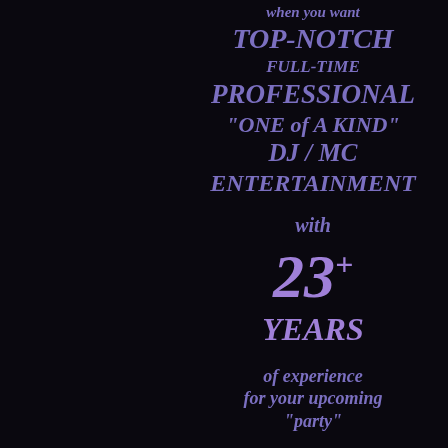when you want
TOP-NOTCH
FULL-TIME
PROFESSIONAL
"ONE of A KIND"
DJ / MC
ENTERTAINMENT
with
23+
YEARS
of experience
for your upcoming
"party"